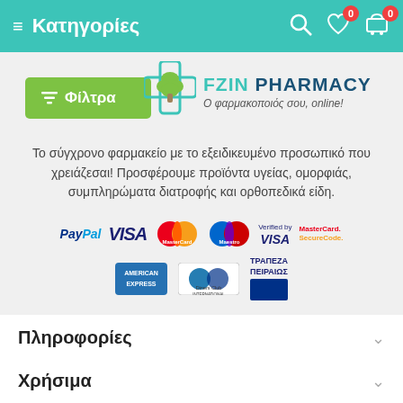≡ Κατηγορίες
[Figure (logo): FZIN Pharmacy logo with tree icon and tagline Ο φαρμακοποιός σου, online!]
Το σύγχρονο φαρμακείο με το εξειδικευμένο προσωπικό που χρειάζεσαι! Προσφέρουμε προϊόντα υγείας, ομορφιάς, συμπληρώματα διατροφής και ορθοπεδικά είδη.
[Figure (infographic): Payment method logos: PayPal, VISA, MasterCard, Maestro, Verified by VISA, MasterCard SecureCode, American Express, Diners Club International, Τράπεζα Πειραιώς]
Πληροφορίες
Χρήσιμα
Επικοινωνία